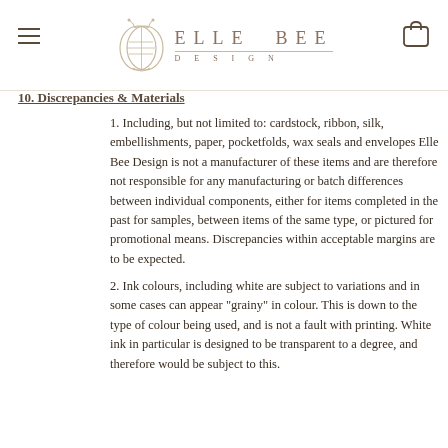ELLE BEE DESIGN
10. Discrepancies & Materials
1. Including, but not limited to: cardstock, ribbon, silk, embellishments, paper, pocketfolds, wax seals and envelopes Elle Bee Design is not a manufacturer of these items and are therefore not responsible for any manufacturing or batch differences between individual components, either for items completed in the past for samples, between items of the same type, or pictured for promotional means. Discrepancies within acceptable margins are to be expected.
2. Ink colours, including white are subject to variations and in some cases can appear "grainy" in colour. This is down to the type of colour being used, and is not a fault with printing. White ink in particular is designed to be transparent to a degree, and therefore would be subject to this.